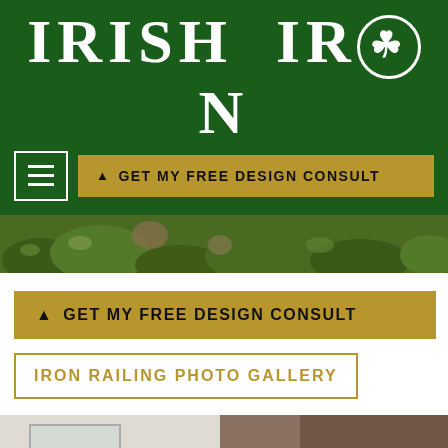IRISH IRON
GET MY FREE DESIGN CONSULT
[Figure (photo): Garden foliage hero image strip showing plants and greenery]
GET MY FREE DESIGN CONSULT
IRON RAILING PHOTO GALLERY
[Figure (photo): Iron railing staircase photo showing dark metal railings with decorative curved elements against a light interior background]